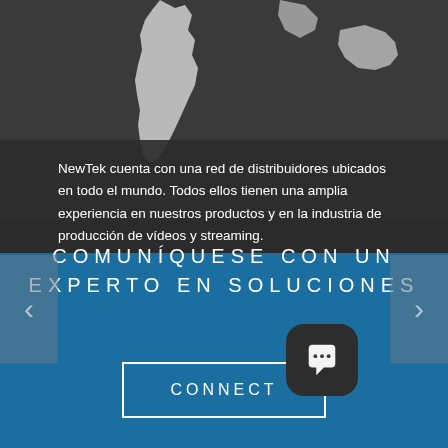[Figure (illustration): Partial world map illustration in white on dark grey background, showing South America and parts of Africa/other continents.]
NewTek cuenta con una red de distribuidores ubicados en todo el mundo. Todos ellos tienen una amplia experiencia en nuestros productos y en la industria de producción de vídeos y streaming.
Utilice esta herramienta para encontrar a un distribuidor de NewTek cerca de su domicilio.
COMUNÍQUESE CON UN EXPERTO EN SOLUCIONES
CONNECT